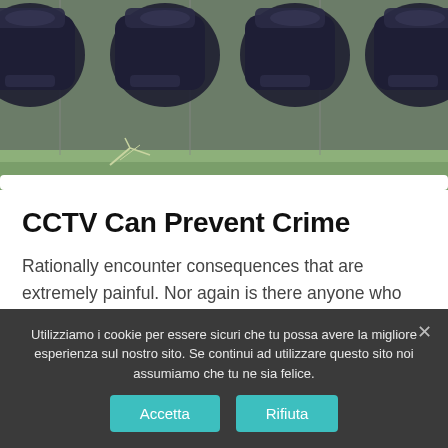[Figure (photo): Aerial view of a parking lot with dark-colored cars parked in diagonal spaces, with green vegetation visible along the edge]
CCTV Can Prevent Crime
Rationally encounter consequences that are extremely painful. Nor again is there anyone who loves or pursues or desires to obtain pain of itself.
Undertakes laborious physical exercise
Utilizziamo i cookie per essere sicuri che tu possa avere la migliore esperienza sul nostro sito. Se continui ad utilizzare questo sito noi assumiamo che tu ne sia felice.